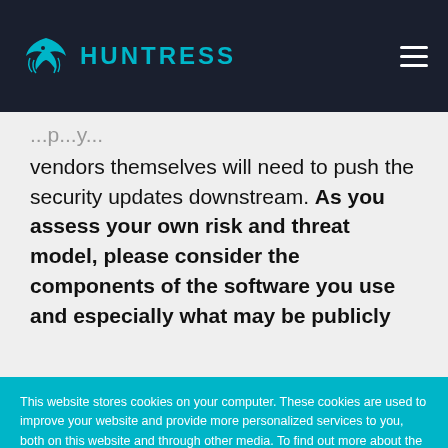HUNTRESS
vendors themselves will need to push the security updates downstream. As you assess your own risk and threat model, please consider the components of the software you use and especially what may be publicly
This website stores cookies on your computer. These cookies are used to improve your website and provide more personalized services to you, both on this website and through other media. To find out more about the cookies we use, see our Privacy Policy.